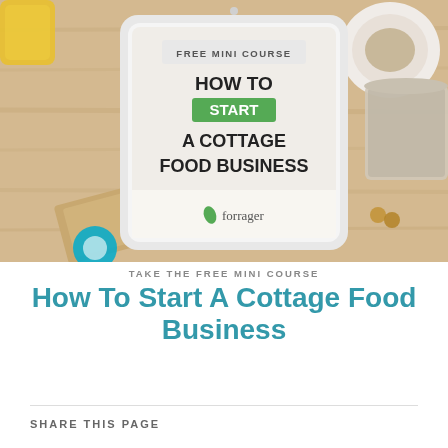[Figure (photo): A tablet device on a wooden table surrounded by food items, displaying a mini course cover that reads 'FREE MINI COURSE — HOW TO START A COTTAGE FOOD BUSINESS' with the Forrager logo.]
TAKE THE FREE MINI COURSE
How To Start A Cottage Food Business
SHARE THIS PAGE